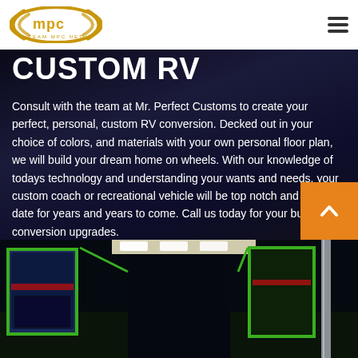MPC logo and navigation menu
CUSTOM RV
Consult with the team at Mr. Perfect Customs to create your perfect, personal, custom RV conversion. Decked out in your choice of colors, and materials with your own personal floor plan, we will build your dream home on wheels. With our knowledge of todays technology and understanding your wants and needs, your custom coach or recreational vehicle will be top notch and up to date for years and years to come. Call us today for your bus conversion upgrades.
[Figure (photo): Interior of a custom bus RV with colorful green, blue, and red panels and overhead lighting]